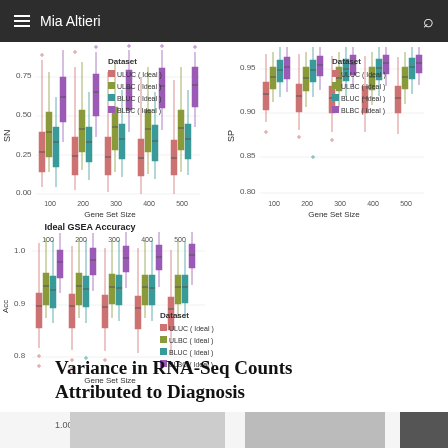Mia Altieri
[Figure (continuous-plot): Box plots showing Ideal GSEA SN (sensitivity) by Gene Set Size across datasets ULUC, ULBC, BLUC, BLBC (Ideal), y-axis 0.00-0.75, x-axis Gene Set Size 100-500]
[Figure (continuous-plot): Box plots showing Ideal GSEA SP (specificity) by Gene Set Size across datasets ULUC, ULBC, BLUC, BLBC (Ideal), y-axis 0.80-0.95, x-axis Gene Set Size 100-500]
[Figure (continuous-plot): Box plots showing Ideal GSEA Acc (accuracy) by Gene Set Size 100-500 across datasets ULUC, ULBC, BLUC, BLBC (Ideal), y-axis 0.8-1.0]
Variance in RNA-Seq Counts Attributed to Diagnosis
[Figure (bar-chart): Partial bar chart visible at bottom of page showing bars for variance attributed to diagnosis]